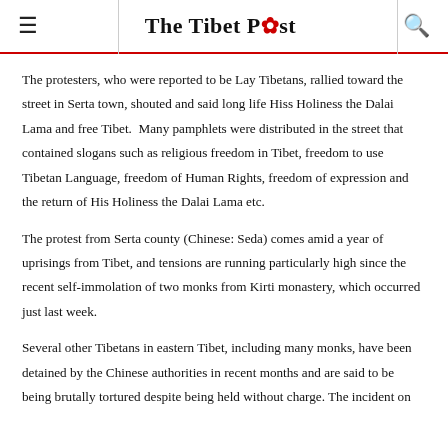The Tibet Post
The protesters, who were reported to be Lay Tibetans, rallied toward the street in Serta town, shouted and said long life Hiss Holiness the Dalai Lama and free Tibet.  Many pamphlets were distributed in the street that contained slogans such as religious freedom in Tibet, freedom to use Tibetan Language, freedom of Human Rights, freedom of expression and the return of His Holiness the Dalai Lama etc.
The protest from Serta county (Chinese: Seda) comes amid a year of uprisings from Tibet, and tensions are running particularly high since the recent self-immolation of two monks from Kirti monastery, which occurred just last week.
Several other Tibetans in eastern Tibet, including many monks, have been detained by the Chinese authorities in recent months and are said to be being brutally tortured despite being held without charge. The incident on